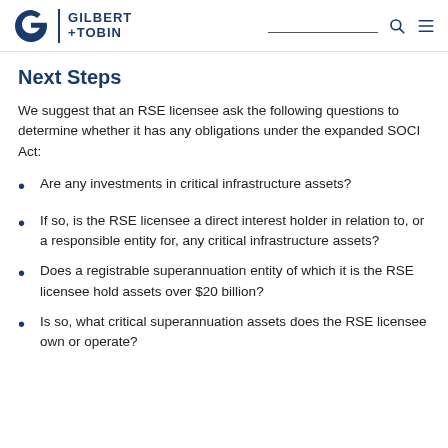Gilbert + Tobin
Next Steps
We suggest that an RSE licensee ask the following questions to determine whether it has any obligations under the expanded SOCI Act:
Are any investments in critical infrastructure assets?
If so, is the RSE licensee a direct interest holder in relation to, or a responsible entity for, any critical infrastructure assets?
Does a registrable superannuation entity of which it is the RSE licensee hold assets over $20 billion?
Is so, what critical superannuation assets does the RSE licensee own or operate?